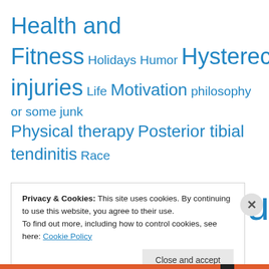Health and Fitness Holidays Humor Hysterectomy injuries Life Motivation philosophy or some junk Physical therapy Posterior tibial tendinitis Race Recaps recipes recovery Running Stupid Runner Tricks Swimming Uncategorized Workouts
Privacy & Cookies: This site uses cookies. By continuing to use this website, you agree to their use. To find out more, including how to control cookies, see here: Cookie Policy
Close and accept